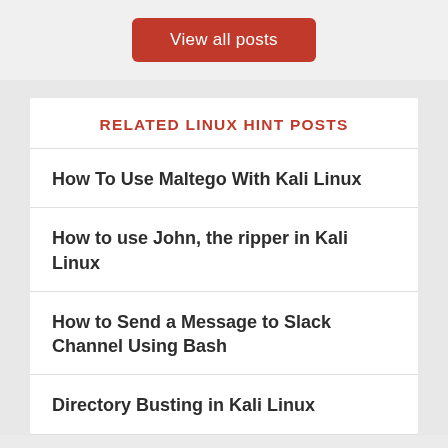View all posts
RELATED LINUX HINT POSTS
How To Use Maltego With Kali Linux
How to use John, the ripper in Kali Linux
How to Send a Message to Slack Channel Using Bash
Directory Busting in Kali Linux
Install Kali Linux on Windows using WSL